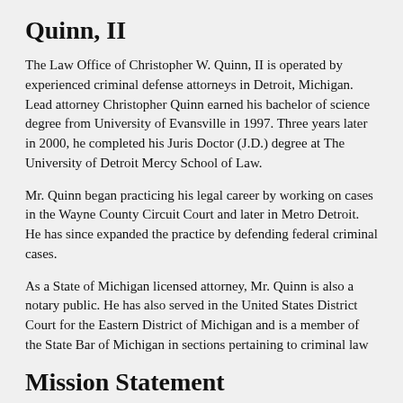Quinn, II
The Law Office of Christopher W. Quinn, II is operated by experienced criminal defense attorneys in Detroit, Michigan. Lead attorney Christopher Quinn earned his bachelor of science degree from University of Evansville in 1997. Three years later in 2000, he completed his Juris Doctor (J.D.) degree at The University of Detroit Mercy School of Law.
Mr. Quinn began practicing his legal career by working on cases in the Wayne County Circuit Court and later in Metro Detroit. He has since expanded the practice by defending federal criminal cases.
As a State of Michigan licensed attorney, Mr. Quinn is also a notary public. He has also served in the United States District Court for the Eastern District of Michigan and is a member of the State Bar of Michigan in sections pertaining to criminal law
Mission Statement